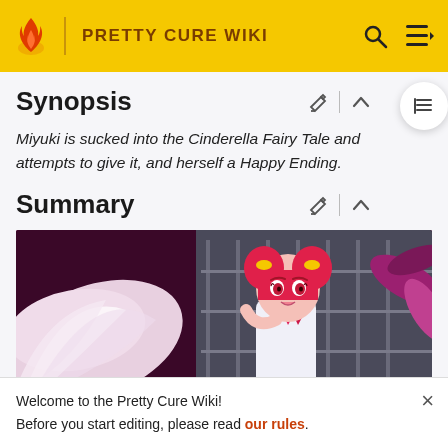PRETTY CURE WIKI
Synopsis
Miyuki is sucked into the Cinderella Fairy Tale and attempts to give it, and herself a Happy Ending.
Summary
[Figure (photo): Anime screenshot showing a pink-haired girl character (Miyuki) with yellow hair accessories, wearing a school uniform, standing in front of a building with stairs. Purple and white floral/book imagery in the foreground.]
Welcome to the Pretty Cure Wiki!
Before you start editing, please read our rules.